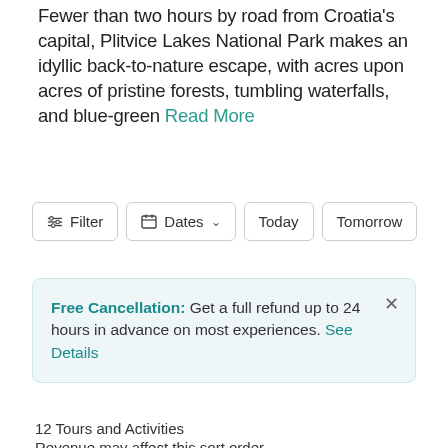Fewer than two hours by road from Croatia's capital, Plitvice Lakes National Park makes an idyllic back-to-nature escape, with acres upon acres of pristine forests, tumbling waterfalls, and blue-green Read More
Filter | Dates (dropdown) | Today | Tomorrow
Free Cancellation: Get a full refund up to 24 hours in advance on most experiences. See Details
12 Tours and Activities
Revenue may affect this sort order
[Figure (photo): Photo of Plitvice Lakes with green forested hills, with a 'Likely to Sell Out' badge overlay]
Plitvice Lakes and Rastoke Day Tour from Zagreb (Included: Entry Ticket)